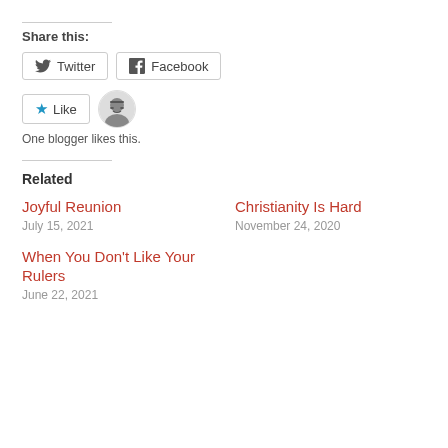Share this:
Twitter  Facebook
[Figure (other): Like button with star icon and avatar of a blogger]
One blogger likes this.
Related
Joyful Reunion
July 15, 2021
Christianity Is Hard
November 24, 2020
When You Don't Like Your Rulers
June 22, 2021